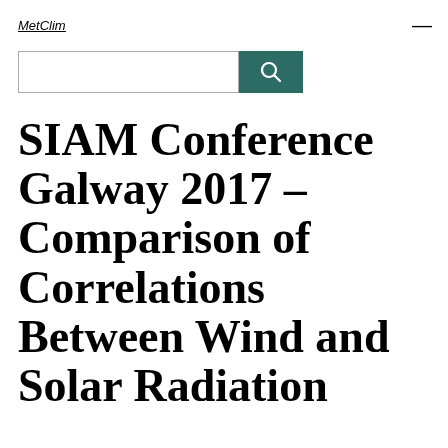MetClim
SIAM Conference Galway 2017 – Comparison of Correlations Between Wind and Solar Radiation